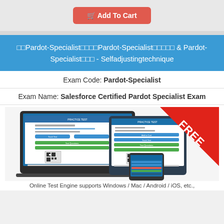🛒 Add To Cart
□□Pardot-Specialist□□□□Pardot-Specialist□□□□□ & Pardot-Specialist□□□ - Selfadjustingtechnique
Exam Code: Pardot-Specialist
Exam Name: Salesforce Certified Pardot Specialist Exam
[Figure (screenshot): Screenshot of an online test engine displayed on laptop, tablet, and phone devices, with a red FREE banner in the top right corner]
Online Test Engine supports Windows / Mac / Android / iOS, etc.,